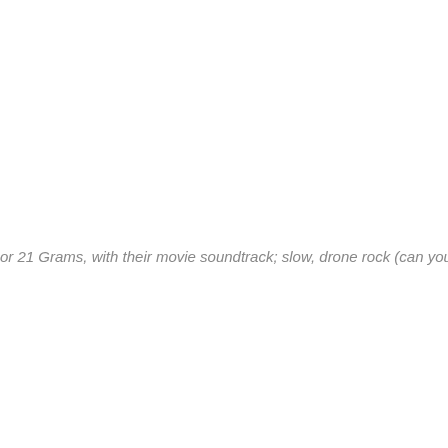or 21 Grams, with their movie soundtrack; slow, drone rock (can you say Mo